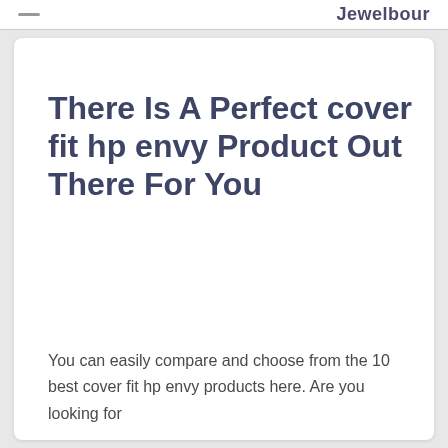Jewelbour
There Is A Perfect cover fit hp envy Product Out There For You
You can easily compare and choose from the 10 best cover fit hp envy products here. Are you looking for